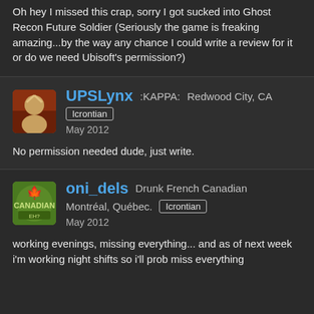Oh hey I missed this crap, sorry I got sucked into Ghost Recon Future Soldier (Seriously the game is freaking amazing...by the way any chance I could write a review for it or do we need Ubisoft's permission?)
UPSLynx :KAPPA: Redwood City, CA Icrontian May 2012
No permission needed dude, just write.
oni_dels Drunk French Canadian Montréal, Québec. Icrontian May 2012
working evenings, missing everything... and as of next week i'm working night shifts so i'll prob miss everything